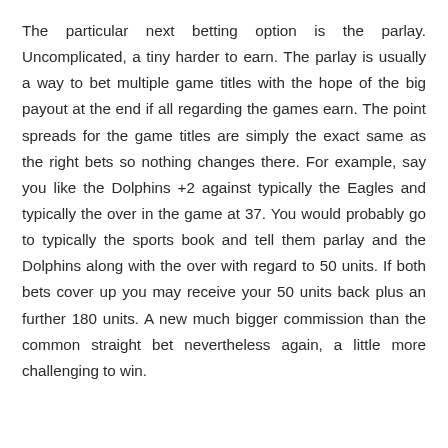The particular next betting option is the parlay. Uncomplicated, a tiny harder to earn. The parlay is usually a way to bet multiple game titles with the hope of the big payout at the end if all regarding the games earn. The point spreads for the game titles are simply the exact same as the right bets so nothing changes there. For example, say you like the Dolphins +2 against typically the Eagles and typically the over in the game at 37. You would probably go to typically the sports book and tell them parlay and the Dolphins along with the over with regard to 50 units. If both bets cover up you may receive your 50 units back plus an further 180 units. A new much bigger commission than the common straight bet nevertheless again, a little more challenging to win.